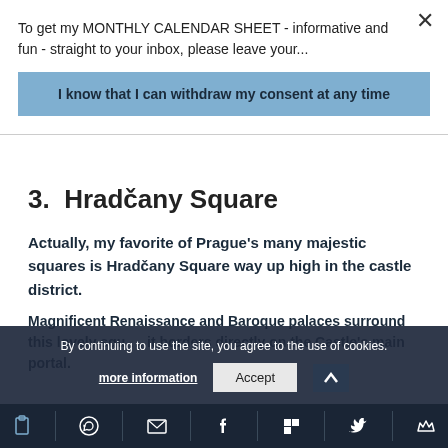To get my MONTHLY CALENDAR SHEET - informative and fun - straight to your inbox, please leave your...
I know that I can withdraw my consent at any time
3. Hradčany Square
Actually, my favorite of Prague's many majestic squares is Hradčany Square way up high in the castle district.
Magnificent Renaissance and Baroque palaces surround this lovely squ... it borders directly on the Castle's main portal.
By continuing to use the site, you agree to the use of cookies. more information  Accept